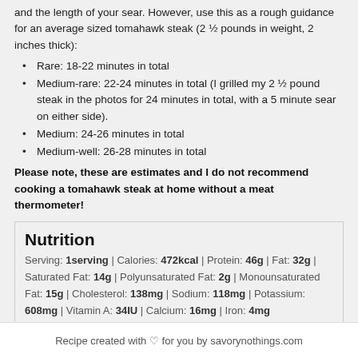and the length of your sear. However, use this as a rough guidance for an average sized tomahawk steak (2 ½ pounds in weight, 2 inches thick):
Rare: 18-22 minutes in total
Medium-rare: 22-24 minutes in total (I grilled my 2 ½ pound steak in the photos for 24 minutes in total, with a 5 minute sear on either side).
Medium: 24-26 minutes in total
Medium-well: 26-28 minutes in total
Please note, these are estimates and I do not recommend cooking a tomahawk steak at home without a meat thermometer!
Nutrition
Serving: 1serving | Calories: 472kcal | Protein: 46g | Fat: 32g | Saturated Fat: 14g | Polyunsaturated Fat: 2g | Monounsaturated Fat: 15g | Cholesterol: 138mg | Sodium: 118mg | Potassium: 608mg | Vitamin A: 34IU | Calcium: 16mg | Iron: 4mg
Recipe created with ♡ for you by savorynothings.com